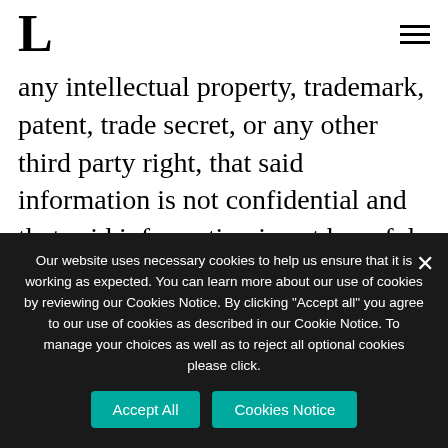L
any intellectual property, trademark, patent, trade secret, or any other third party right, that said information is not confidential and that said information is not harmful to third parties.
The user acknowledges assuming
Our website uses necessary cookies to help us ensure that it is working as expected. You can learn more about our use of cookies by reviewing our Cookies Notice. By clicking "Accept all" you agree to our use of cookies as described in our Cookie Notice. To manage your choices as well as to reject all optional cookies please click.
Accept All
Cookies Notice